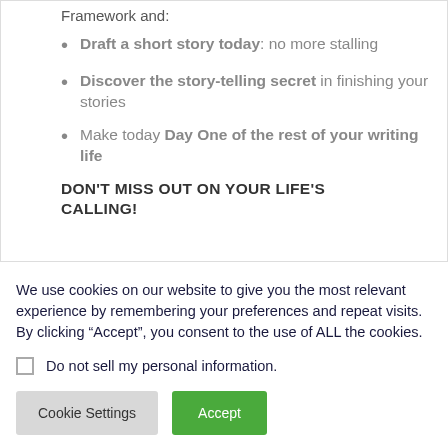Framework and:
Draft a short story today: no more stalling
Discover the story-telling secret in finishing your stories
Make today Day One of the rest of your writing life
DON'T MISS OUT ON YOUR LIFE'S CALLING!
We use cookies on our website to give you the most relevant experience by remembering your preferences and repeat visits. By clicking “Accept”, you consent to the use of ALL the cookies.
Do not sell my personal information.
Cookie Settings
Accept